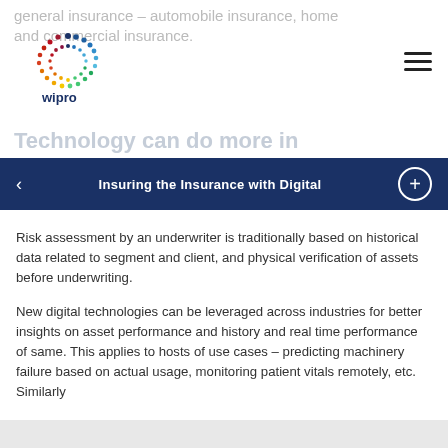general insurance – automobile insurance, home and commercial insurance.
[Figure (logo): Wipro colorful dot-circle logo with 'wipro' text]
Technology can do more in
Insuring the Insurance with Digital
Risk assessment by an underwriter is traditionally based on historical data related to segment and client, and physical verification of assets before underwriting.
New digital technologies can be leveraged across industries for better insights on asset performance and history and real time performance of same. This applies to hosts of use cases – predicting machinery failure based on actual usage, monitoring patient vitals remotely, etc. Similarly